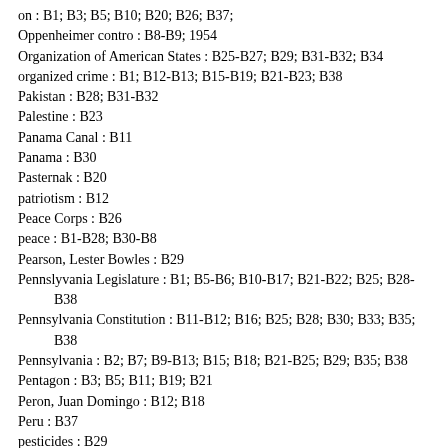on : B1; B3; B5; B10; B20; B26; B37;
Oppenheimer contro : B8-B9; 1954
Organization of American States : B25-B27; B29; B31-B32; B34
organized crime : B1; B12-B13; B15-B19; B21-B23; B38
Pakistan : B28; B31-B32
Palestine : B23
Panama Canal : B11
Panama : B30
Pasternak : B20
patriotism : B12
Peace Corps : B26
peace : B1-B28; B30-B8
Pearson, Lester Bowles : B29
Pennslyvania Legislature : B1; B5-B6; B10-B17; B21-B22; B25; B28-B38
Pennsylvania Constitution : B11-B12; B16; B25; B28; B30; B33; B35; B38
Pennsylvania : B2; B7; B9-B13; B15; B18; B21-B25; B29; B35; B38
Pentagon : B3; B5; B11; B19; B21
Peron, Juan Domingo : B12; B18
Peru : B37
pesticides : B29
Philadelphia : B1-B9; B11-B38
piracy : B1; B25; B36